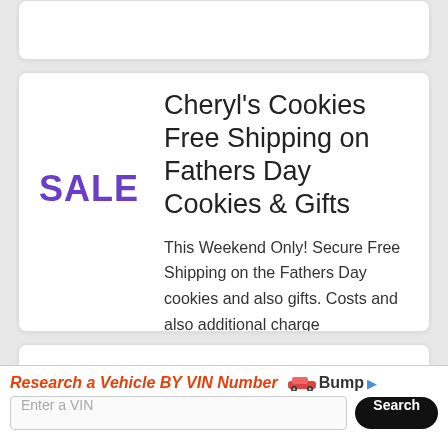[Figure (screenshot): Partial top card, cut off, white background with rounded corners]
Cheryl's Cookies Free Shipping on Fathers Day Cookies & Gifts
This Weekend Only! Secure Free Shipping on the Fathers Day cookies and also gifts. Costs and also additional charge
Cheryl's Cookies 10% Off Select Items
[Figure (screenshot): Ad banner: Research a Vehicle BY VIN Number - Bump logo, Enter a VIN input, Search button]